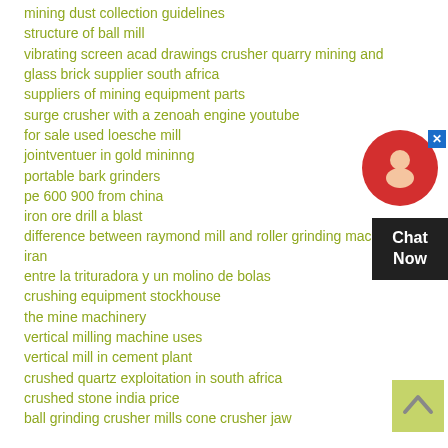mining dust collection guidelines
structure of ball mill
vibrating screen acad drawings crusher quarry mining and
glass brick supplier south africa
suppliers of mining equipment parts
surge crusher with a zenoah engine youtube
for sale used loesche mill
jointventuer in gold mininng
portable bark grinders
pe 600 900 from china
iron ore drill a blast
difference between raymond mill and roller grinding machine iran
entre la trituradora y un molino de bolas
crushing equipment stockhouse
the mine machinery
vertical milling machine uses
vertical mill in cement plant
crushed quartz exploitation in south africa
crushed stone india price
ball grinding crusher mills cone crusher jaw
[Figure (infographic): Chat support widget with red circular icon showing a headset silhouette, a close (X) button in top right, and a dark box below reading 'Chat Now']
[Figure (infographic): Scroll-to-top button: light olive/yellow-green square with an upward-pointing chevron arrow]